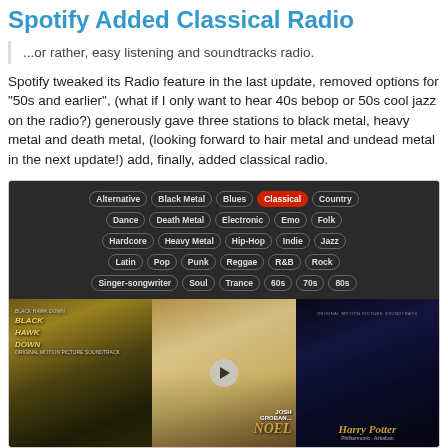Spotify Added Classical Radio
...or rather, easy listening and soundtracks radio.
Spotify tweaked its Radio feature in the last update, removed options for "50s and earlier", (what if I only want to hear 40s bebop or 50s cool jazz on the radio?) generously gave three stations to black metal, heavy metal and death metal, (looking forward to hair metal and undead metal in the next update!) add, finally, added classical radio.
[Figure (screenshot): Spotify radio genre selection interface showing genre buttons including Alternative, Black Metal, Blues, Classical (highlighted in red), Country, Dance, Death Metal, Electronic, Emo, Folk, Hardcore, Heavy Metal, Hip-Hop, Indie, Jazz, Latin, Pop, Punk, Reggae, R&B, Rock, Singer-songwriter, Soul, Trance, 60s, 70s, 80s. Below the buttons are three album covers: Black Hawk Down soundtrack, Josh Groban's Noel (with play button), and Harry Potter soundtrack.]